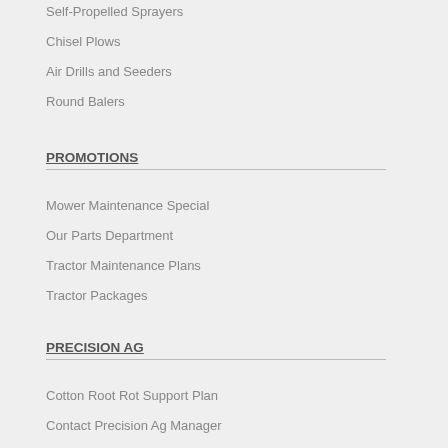Self-Propelled Sprayers
Chisel Plows
Air Drills and Seeders
Round Balers
PROMOTIONS
Mower Maintenance Special
Our Parts Department
Tractor Maintenance Plans
Tractor Packages
PRECISION AG
Cotton Root Rot Support Plan
Contact Precision Ag Manager